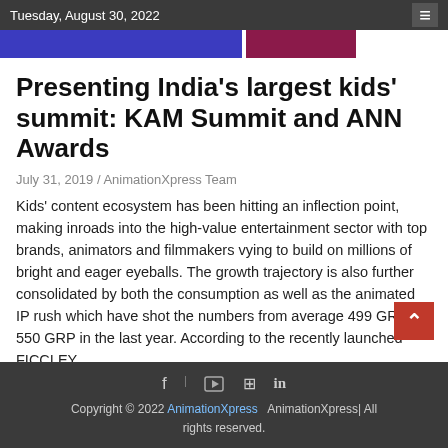Tuesday, August 30, 2022
Presenting India's largest kids' summit: KAM Summit and ANN Awards
July 31, 2019 / AnimationXpress Team
Kids' content ecosystem has been hitting an inflection point, making inroads into the high-value entertainment sector with top brands, animators and filmmakers vying to build on millions of bright and eager eyeballs. The growth trajectory is also further consolidated by both the consumption as well as the animated IP rush which have shot the numbers from average 499 GRP to 550 GRP in the last year. According to the recently launched FICCI EY report, animation segment is estimated to reach at Rs
Copyright © 2022 AnimationXpress  AnimationXpress| All rights reserved.